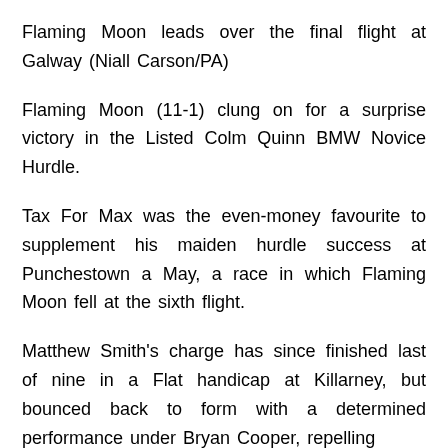Flaming Moon leads over the final flight at Galway (Niall Carson/PA)
Flaming Moon (11-1) clung on for a surprise victory in the Listed Colm Quinn BMW Novice Hurdle.
Tax For Max was the even-money favourite to supplement his maiden hurdle success at Punchestown a May, a race in which Flaming Moon fell at the sixth flight.
Matthew Smith's charge has since finished last of nine in a Flat handicap at Killarney, but bounced back to form with a determined performance under Bryan Cooper, repelling